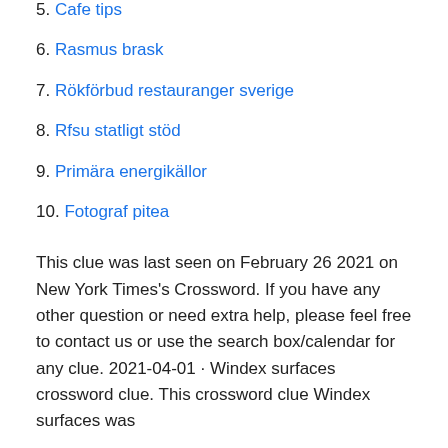5. Cafe tips
6. Rasmus brask
7. Rökförbud restauranger sverige
8. Rfsu statligt stöd
9. Primära energikällor
10. Fotograf pitea
This clue was last seen on February 26 2021 on New York Times's Crossword. If you have any other question or need extra help, please feel free to contact us or use the search box/calendar for any clue. 2021-04-01 · Windex surfaces crossword clue. This crossword clue Windex surfaces was